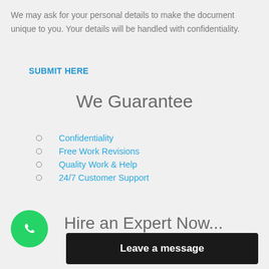We may ask for your personal details to make the document unique to you. Your details will be handled with confidentiality.
SUBMIT HERE
We Guarantee
Confidentiality
Free Work Revisions
Quality Work & Help
24/7 Customer Support
Hire an Expert Now...
[Figure (logo): WhatsApp green circle button with phone handset icon]
Leave a message